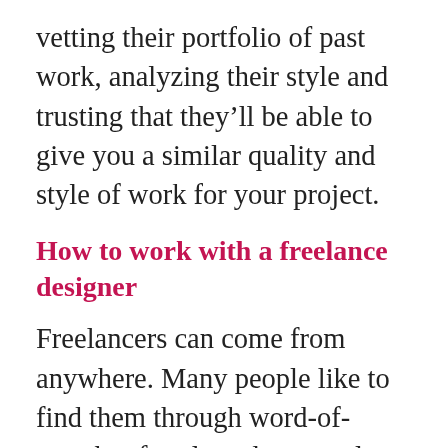vetting their portfolio of past work, analyzing their style and trusting that they'll be able to give you a similar quality and style of work for your project.
How to work with a freelance designer
Freelancers can come from anywhere. Many people like to find them through word-of-mouth referrals and personal connections. These are often your best option because the designer will have been vetted by a friend or colleague, and you'll be able to ask honest questions about skill, quality, schedule and cost. If you don't have connections, you can find them for them through Cour through and